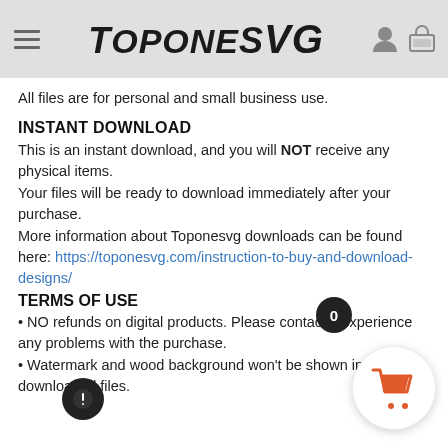TopOneSVG
All files are for personal and small business use.
INSTANT DOWNLOAD
This is an instant download, and you will NOT receive any physical items.
Your files will be ready to download immediately after your purchase.
More information about Toponesvg downloads can be found here: https://toponesvg.com/instruction-to-buy-and-download-designs/
TERMS OF USE
NO refunds on digital products. Please contact if experience any problems with the purchase.
Watermark and wood background won't be shown in downloaded files.